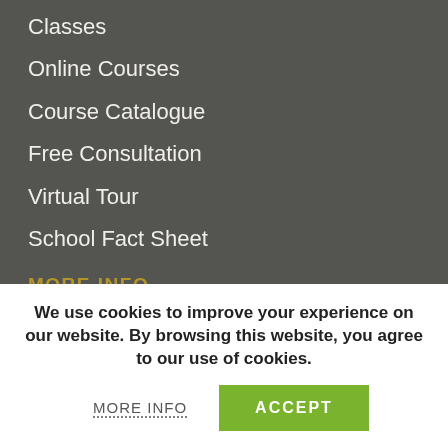Classes
Online Courses
Course Catalogue
Free Consultation
Virtual Tour
School Fact Sheet
MORE INFO
We use cookies to improve your experience on our website. By browsing this website, you agree to our use of cookies.
MORE INFO
ACCEPT